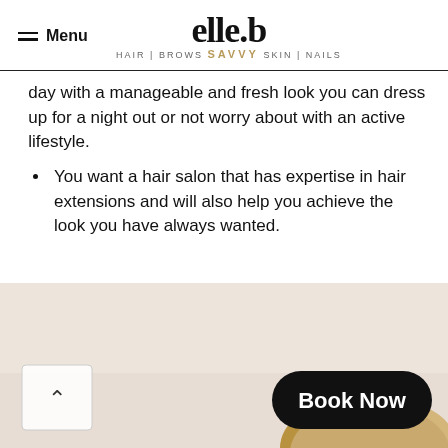Menu | elle.b HAIR | BROWS SAVVY SKIN | NAILS
day with a manageable and fresh look you can dress up for a night out or not worry about with an active lifestyle.
You want a hair salon that has expertise in hair extensions and will also help you achieve the look you have always wanted.
[Figure (photo): Photo of a person with blonde hair, bottom portion of page. Includes a 'Book Now' black pill button and a back-to-top arrow button.]